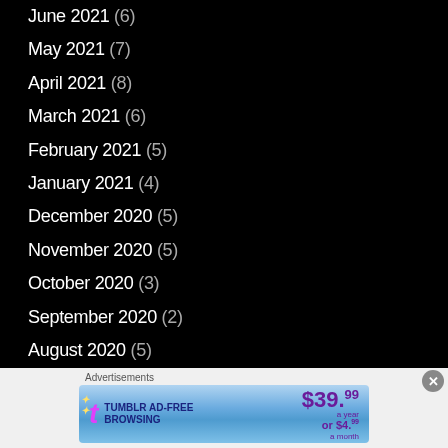June 2021 (6)
May 2021 (7)
April 2021 (8)
March 2021 (6)
February 2021 (5)
January 2021 (4)
December 2020 (5)
November 2020 (5)
October 2020 (3)
September 2020 (2)
August 2020 (5)
July 2020 (7)
June 2020 (6)
Advertisements
[Figure (other): Tumblr AD-FREE BROWSING advertisement banner. $39.99 a year or $4.99 a month.]